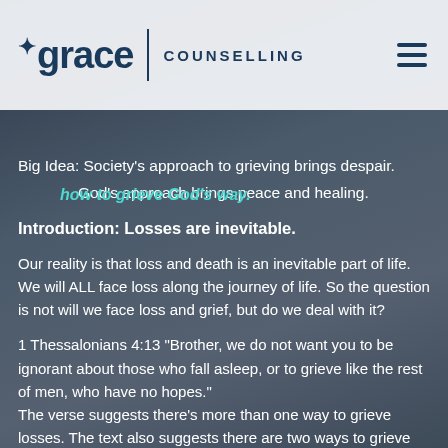Grace Counselling
how to grieve God's way.
Big Idea: Society's approach to grieving brings despair.
          God's approach brings peace and healing.
Introduction: Losses are inevitable.
Our reality is that loss and death is an inevitable part of life. We will ALL face loss along the journey of life. So the question is not will we face loss and grief, but do we deal with it?
1 Thessalonians 4:13 "Brother, we do not want you to be ignorant about those who fall asleep, or to grieve like the rest of men, who have no hopes."
The verse suggests there's more than one way to grieve losses. The text also suggests there are two ways to grieve losses: society's way, which lacks hope